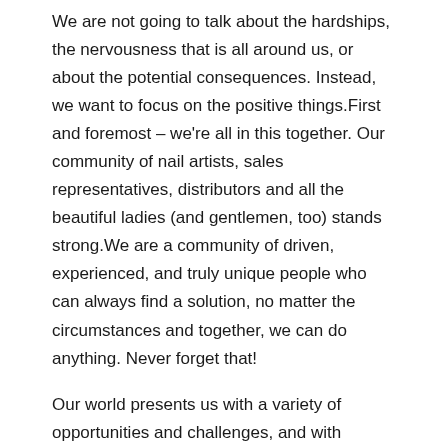We are not going to talk about the hardships, the nervousness that is all around us, or about the potential consequences. Instead, we want to focus on the positive things.First and foremost – we're all in this together. Our community of nail artists, sales representatives, distributors and all the beautiful ladies (and gentlemen, too) stands strong.We are a community of driven, experienced, and truly unique people who can always find a solution, no matter the circumstances and together, we can do anything. Never forget that!
Our world presents us with a variety of opportunities and challenges, and with numerous ways to face them. Can't sell in shops and studios? We can move the sales online. Courses don't sell too well? Let's launch online education or at least have free trial lessons on social media and explain why our courses rock. Have to cancel client appointments at the studio? Let's focus on improving our skills while we're at home, keeping our clients up to speed with the new skills we've learned and